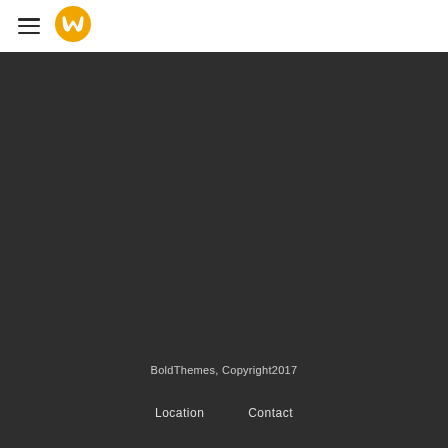Hamburger menu and logo
[Figure (logo): Orange circular logo with a stylized W shape inside]
BoldThemes, Copyright2017
Location   Contact